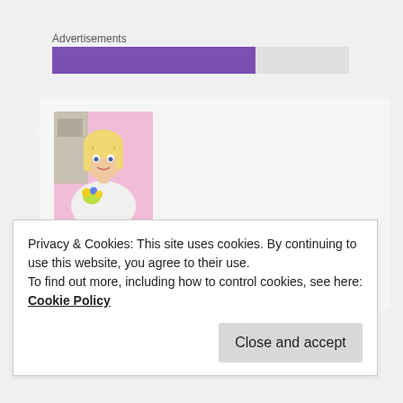Advertisements
[Figure (other): Purple advertisement bar on grey background]
[Figure (photo): Avatar photo of a blonde woman holding flowers with pink background]
Just A Smidgen on April 27, 2012 at 2:16 pm said:
Phew! I was dismayed when I saw your photos.. I thought, “No.. don’t let it be these that don’t
Privacy & Cookies: This site uses cookies. By continuing to use this website, you agree to their use.
To find out more, including how to control cookies, see here: Cookie Policy
Close and accept